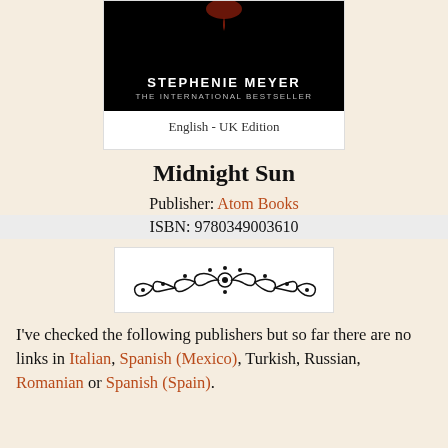[Figure (photo): Partial book cover of Midnight Sun by Stephenie Meyer, UK Edition, showing black background with author name and 'The International Bestseller' text]
English - UK Edition
Midnight Sun
Publisher: Atom Books
ISBN: 9780349003610
[Figure (illustration): Decorative floral ornament divider in black on white background]
I've checked the following publishers but so far there are no links in Italian, Spanish (Mexico), Turkish, Russian, Romanian or Spanish (Spain).